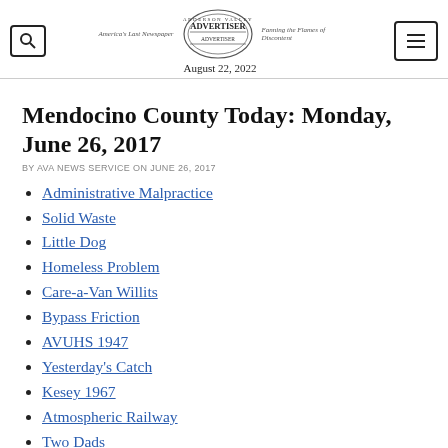Anderson Valley Advertiser — America's Last Newspaper — Fanning the Flames of Discontent — August 22, 2022
Mendocino County Today: Monday, June 26, 2017
BY AVA NEWS SERVICE ON JUNE 26, 2017
Administrative Malpractice
Solid Waste
Little Dog
Homeless Problem
Care-a-Van Willits
Bypass Friction
AVUHS 1947
Yesterday's Catch
Kesey 1967
Atmospheric Railway
Two Dads